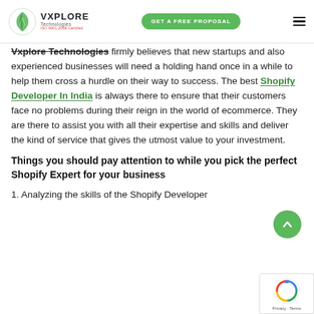VXPLORE Technologies | GET A FREE PROPOSAL
Vxplore Technologies firmly believes that new startups and also experienced businesses will need a holding hand once in a while to help them cross a hurdle on their way to success. The best Shopify Developer In India is always there to ensure that their customers face no problems during their reign in the world of ecommerce. They are there to assist you with all their expertise and skills and deliver the kind of service that gives the utmost value to your investment.
Things you should pay attention to while you pick the perfect Shopify Expert for your business
1. Analyzing the skills of the Shopify Developer